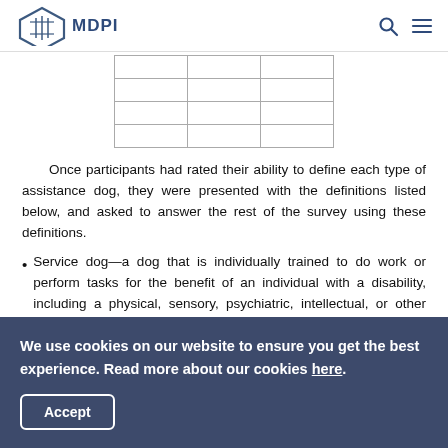MDPI
[Figure (table-as-image): Partial view of a table with grid lines, showing rows and columns (3 columns, 4 rows visible)]
Once participants had rated their ability to define each type of assistance dog, they were presented with the definitions listed below, and asked to answer the rest of the survey using these definitions.
Service dog—a dog that is individually trained to do work or perform tasks for the benefit of an individual with a disability, including a physical, sensory, psychiatric, intellectual, or other mental disability.
We use cookies on our website to ensure you get the best experience. Read more about our cookies here.